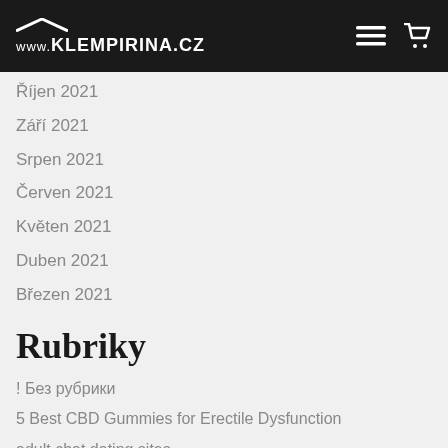Prosinec 2021
[Figure (logo): www.KLEMPIRINA.CZ logo with roof graphic on dark header bar]
Říjen 2021
Září 2021
Srpen 2021
Červen 2021
Květen 2021
Duben 2021
Březen 2021
Rubriky
! Без рубрики
5 Best CBD Gummies for Erectile Dysfunction
adult chat dating sites